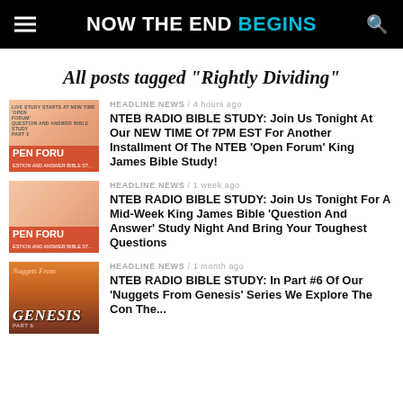NOW THE END BEGINS
All posts tagged "Rightly Dividing"
HEADLINE NEWS / 4 hours ago
NTEB RADIO BIBLE STUDY: Join Us Tonight At Our NEW TIME Of 7PM EST For Another Installment Of The NTEB ‘Open Forum’ King James Bible Study!
HEADLINE NEWS / 1 week ago
NTEB RADIO BIBLE STUDY: Join Us Tonight For A Mid-Week King James Bible ‘Question And Answer’ Study Night And Bring Your Toughest Questions
HEADLINE NEWS / 1 month ago
NTEB RADIO BIBLE STUDY: In Part #6 Of Our ‘Nuggets From Genesis’ Series We Explore The...